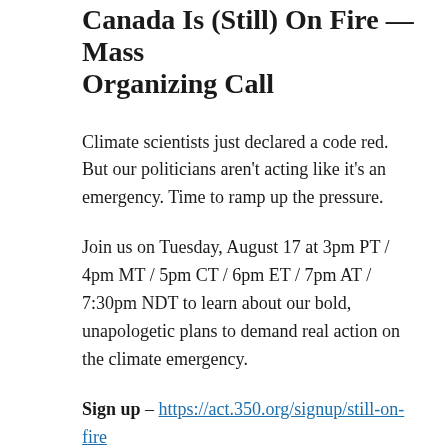Canada Is (Still) On Fire — Mass Organizing Call
Climate scientists just declared a code red. But our politicians aren't acting like it's an emergency. Time to ramp up the pressure.
Join us on Tuesday, August 17 at 3pm PT / 4pm MT / 5pm CT / 6pm ET / 7pm AT / 7:30pm NDT to learn about our bold, unapologetic plans to demand real action on the climate emergency.
Sign up – https://act.350.org/signup/still-on-fire
Extreme heat early this summer has sparked one of the worst wildfire seasons on record.